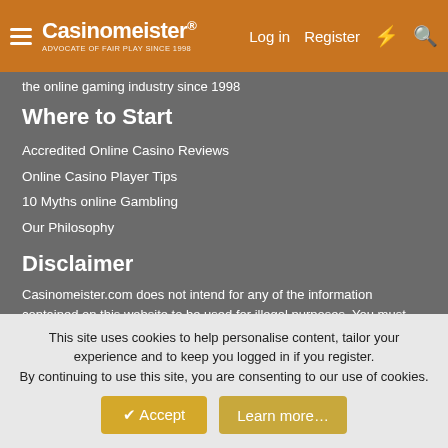Casinomeister® — Log in | Register
the online gaming industry since 1998
Where to Start
Accredited Online Casino Reviews
Online Casino Player Tips
10 Myths online Gambling
Our Philosophy
Disclaimer
Casinomeister.com does not intend for any of the information contained on this website to be used for illegal purposes. You must ensure you meet all age and other regulatory requirements before entering a casino or placing a wager. Online gambling is illegal in many jurisdictions and users should consult legal counsel regarding the legal status of online gambling
This site uses cookies to help personalise content, tailor your experience and to keep you logged in if you register.
By continuing to use this site, you are consenting to our use of cookies.